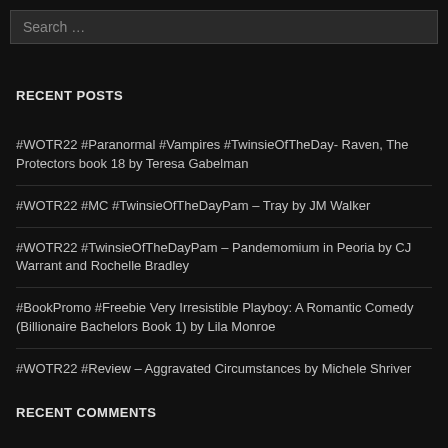Search …
RECENT POSTS
#WOTR22 #Paranormal #Vampires #TwinsieOfTheDay- Raven, The Protectors book 18 by Teresa Gabelman
#WOTR22 #MC #TwinsieOfTheDayPam – Tray by JM Walker
#WOTR22 #TwinsieOfTheDayPam – Pandemomium in Peoria by CJ Warrant and Rochelle Bradley
#BookPromo #Freebie Very Irresistible Playboy: A Romantic Comedy (Billionaire Bachelors Book 1) by Lila Monroe
#WOTR22 #Review – Aggravated Circumstances by Michele Shriver
RECENT COMMENTS